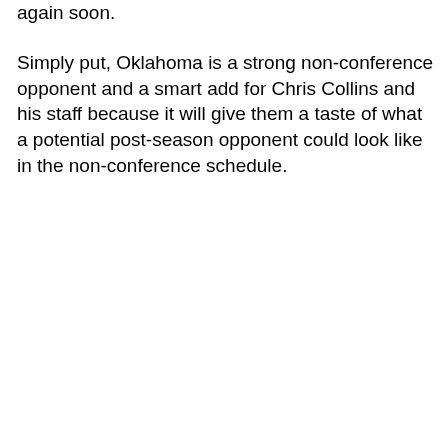again soon.
Simply put, Oklahoma is a strong non-conference opponent and a smart add for Chris Collins and his staff because it will give them a taste of what a potential post-season opponent could look like in the non-conference schedule.